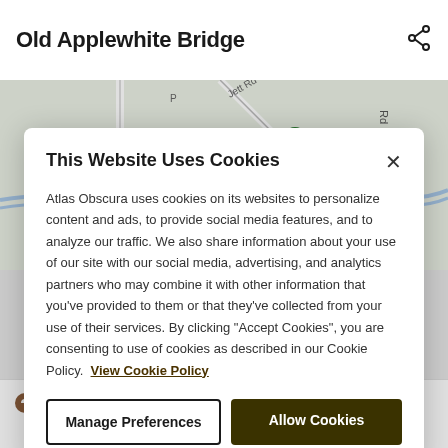Old Applewhite Bridge
[Figure (map): Street map showing Medina River Greenway: Applewhite Trailhead area with roads including Jett Rd]
This Website Uses Cookies
Atlas Obscura uses cookies on its websites to personalize content and ads, to provide social media features, and to analyze our traffic. We also share information about your use of our site with our social media, advertising, and analytics partners who may combine it with other information that you've provided to them or that they've collected from your use of their services. By clicking "Accept Cookies", you are consenting to use of cookies as described in our Cookie Policy. View Cookie Policy
Manage Preferences
Allow Cookies
Mission San Jose
0.14 miles